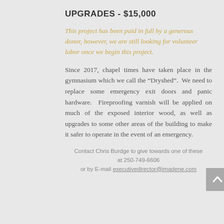UPGRADES - $15,000
This project has been paid in full by a generous donor, however, we are still looking for volunteer labor once we begin this project.
Since 2017, chapel times have taken place in the gymnasium which we call the “Dryshed”.  We need to replace some emergency exit doors and panic hardware.  Fireproofing varnish will be applied on much of the exposed interior wood, as well as upgrades to some other areas of the building to make it safer to operate in the event of an emergency.
Contact Chris Burdge to give towards one of these at 250-749-6606 or by E-mail executivedirector@imadene.com